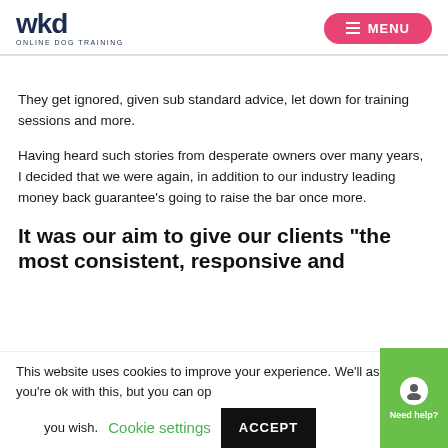wkd ONLINE DOG TRAINING | MENU
They get ignored, given sub standard advice, let down for training sessions and more.
Having heard such stories from desperate owners over many years, I decided that we were again, in addition to our industry leading money back guarantee’s going to raise the bar once more.
It was our aim to give our clients “the most consistent, responsive and
This website uses cookies to improve your experience. We’ll assume you’re ok with this, but you can op you wish.
Cookie settings | ACCEPT